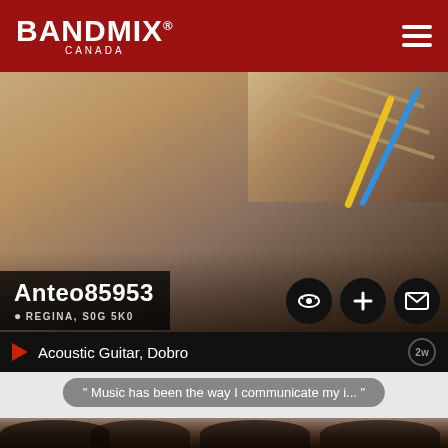BANDMIX® CANADA
[Figure (photo): Hero background image showing a guitar neck and cables]
Anteo85953
REGINA, S0G 5K0
Acoustic Guitar, Dobro
2w
" Music has been the way I communicate my i... "
[Figure (photo): Four young men posing together, one holding a guitar. Black and white / sepia toned photo.]